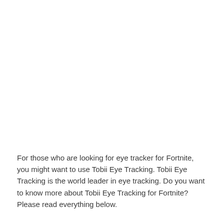For those who are looking for eye tracker for Fortnite, you might want to use Tobii Eye Tracking. Tobii Eye Tracking is the world leader in eye tracking. Do you want to know more about Tobii Eye Tracking for Fortnite? Please read everything below.